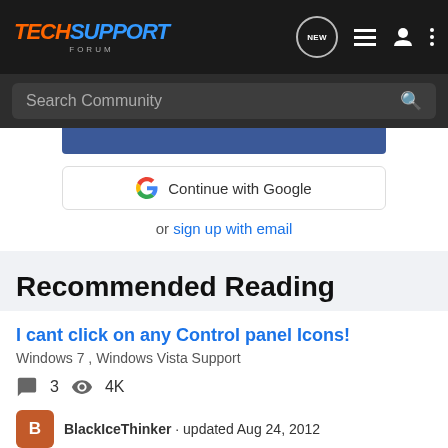TECHSUPPORT FORUM
Search Community
[Figure (screenshot): Continue with Google button and sign up with email option]
Recommended Reading
I cant click on any Control panel Icons!
Windows 7 , Windows Vista Support
3  4K
BlackIceThinker · updated Aug 24, 2012